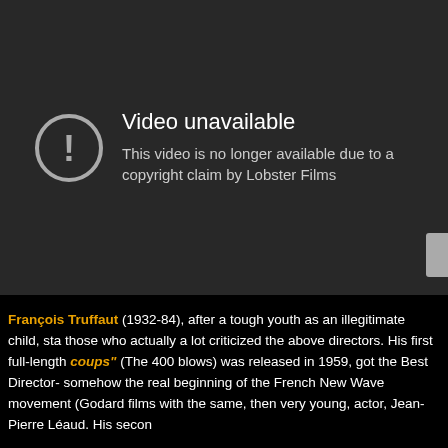[Figure (screenshot): YouTube video unavailable error screen on dark background showing exclamation mark in circle icon with text 'Video unavailable' and 'This video is no longer available due to a copyright claim by Lobster Films']
François Truffaut (1932-84), after a tough youth as an illegitimate child, sta those who actually a lot criticized the above directors. His first full-length coups" (The 400 blows) was released in 1959, got the Best Director- somehow the real beginning of the French New Wave movement (Godard films with the same, then very young, actor, Jean-Pierre Léaud. His secon